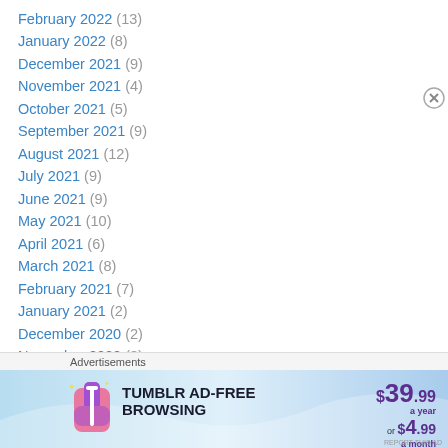February 2022 (13)
January 2022 (8)
December 2021 (9)
November 2021 (4)
October 2021 (5)
September 2021 (9)
August 2021 (12)
July 2021 (9)
June 2021 (9)
May 2021 (10)
April 2021 (6)
March 2021 (8)
February 2021 (7)
January 2021 (2)
December 2020 (2)
November 2020 (3)
[Figure (illustration): Tumblr Ad-Free Browsing advertisement banner showing $39.99/year or $4.99/month pricing with Tumblr logo]